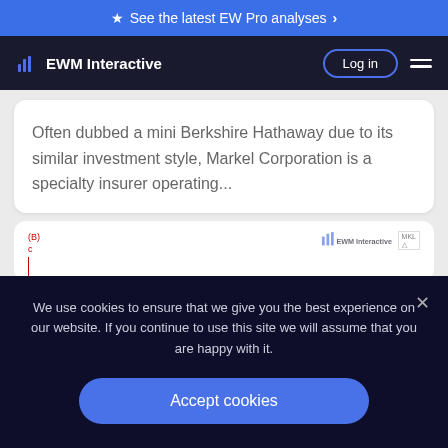★ See the latest EW Pro analyses ›
EWM Interactive  Log in
Often dubbed a mini Berkshire Hathaway due to its similar investment style, Markel Corporation is a specialty insurer operating...
[Figure (logo): Partial chart image with (B) label in red and EWM Interactive logo watermark]
We use cookies to ensure that we give you the best experience on our website. If you continue to use this site we will assume that you are happy with it.
Accept cookies